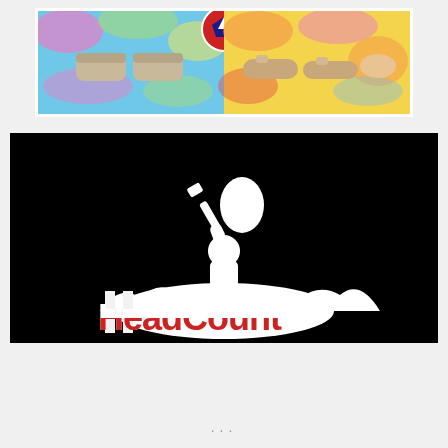[Figure (photo): Top photo: Tie-dye patterned shoes — on the left side, slip-on sneakers on a colorful tie-dye background with a Grateful Dead lightning bolt logo circle; on the right side, tie-dye sandals/flip flops on a yellow tie-dye background.]
[Figure (logo): Bottom image: Black background with a white silhouette of a person holding up a guitar (Woodstock-style icon), with partial text 'HeadCount' in large bold font at the bottom, letters styled with black and red on a black background.]